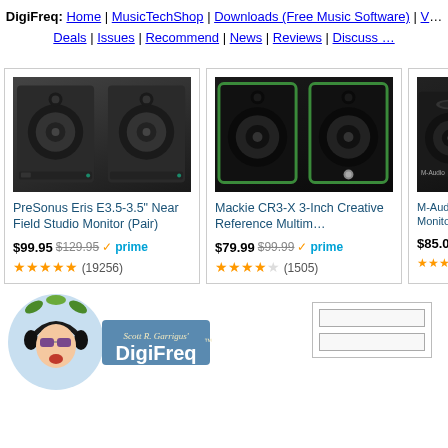DigiFreq: Home | MusicTechShop | Downloads (Free Music Software) | V... Deals | Issues | Recommend | News | Reviews | Discuss ...
[Figure (screenshot): Product card: PreSonus Eris E3.5-3.5 inch Near Field Studio Monitor (Pair) - two black studio monitor speakers. Price $99.95, was $129.95, Prime. 4.5 stars, (19256) reviews.]
[Figure (screenshot): Product card: Mackie CR3-X 3-Inch Creative Reference Multim... - two black studio monitors with green trim. Price $79.99, was $99.99, Prime. 4 stars, (1505) reviews.]
[Figure (screenshot): Product card: M-Audio B... Monitors, ... - partial view of black studio monitor. Price $85.00, was $9... Stars visible.]
[Figure (logo): DigiFreq logo - Scott R. Garrigus' DigiFreq with cartoon character wearing headphones]